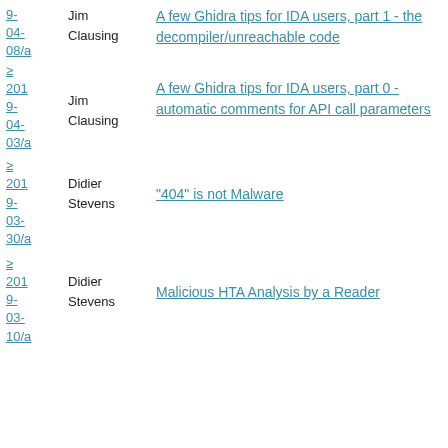2019-04-08/a Jim Clausing A few Ghidra tips for IDA users, part 1 - the decompiler/unreachable code
2019-04-03/a Jim Clausing A few Ghidra tips for IDA users, part 0 - automatic comments for API call parameters
2019-03-30/a Didier Stevens "404" is not Malware
2019-03-10/a Didier Stevens Malicious HTA Analysis by a Reader